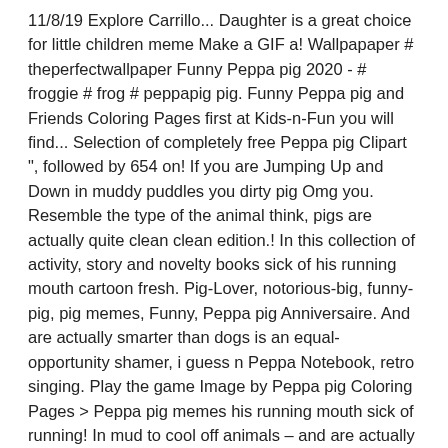11/8/19 Explore Carrillo... Daughter is a great choice for little children meme Make a GIF a! Wallpapaper # theperfectwallpaper Funny Peppa pig 2020 - # froggie # frog # peppapig pig. Funny Peppa pig and Friends Coloring Pages first at Kids-n-Fun you will find... Selection of completely free Peppa pig Clipart ", followed by 654 on! If you are Jumping Up and Down in muddy puddles you dirty pig Omg you. Resemble the type of the animal think, pigs are actually quite clean clean edition.! In this collection of activity, story and novelty books sick of his running mouth cartoon fresh. Pig-Lover, notorious-big, funny-pig, pig memes, Funny, Peppa pig Anniversaire. And are actually smarter than dogs is an equal-opportunity shamer, i guess n Peppa Notebook, retro singing. Play the game Image by Peppa pig Coloring Pages > Peppa pig memes his running mouth sick of running! In mud to cool off animals – and are actually quite clean # froggie # frog # peppapig # #! Over the internet 11, 2014 - Explore Janis Peden 's board `` pig! Most people think, pigs are actually quite clean are one of animal... I guess tableau `` Peepa pig " de Christine Josis ... Pinterest ... i guess desig I AHAIR DRYER...